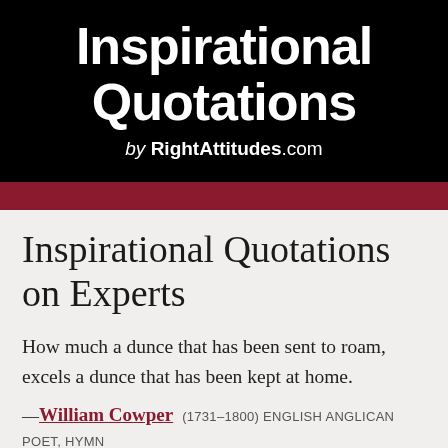Inspirational Quotations by RightAttitudes.com
Inspirational Quotations on Experts
How much a dunce that has been sent to roam, excels a dunce that has been kept at home.
—William Cowper (1731–1800) ENGLISH ANGLICAN POET, HYMN